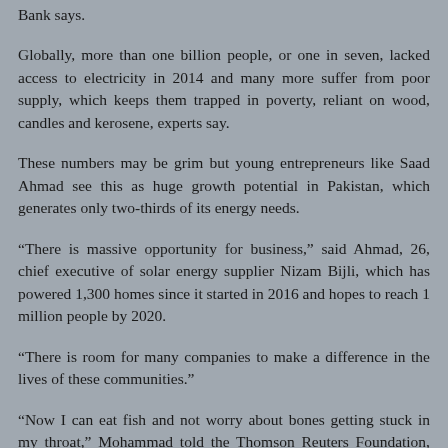Bank says.
Globally, more than one billion people, or one in seven, lacked access to electricity in 2014 and many more suffer from poor supply, which keeps them trapped in poverty, reliant on wood, candles and kerosene, experts say.
These numbers may be grim but young entrepreneurs like Saad Ahmad see this as huge growth potential in Pakistan, which generates only two-thirds of its energy needs.
“There is massive opportunity for business,” said Ahmad, 26, chief executive of solar energy supplier Nizam Bijli, which has powered 1,300 homes since it started in 2016 and hopes to reach 1 million people by 2020.
“There is room for many companies to make a difference in the lives of these communities.”
“Now I can eat fish and not worry about bones getting stuck in my throat,” Mohammad told the Thomson Reuters Foundation, describing how he enjoys a well-lit evening meal since his son, Ghulam Nabi, installed solar bulbs in